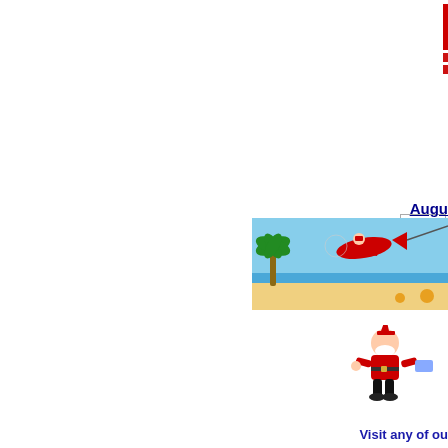[Figure (illustration): Partial right-side decorative vertical bar element, dark red/maroon color with two dot markers below]
[Figure (screenshot): Partial search/entry input box with label 'Ent' visible, with border]
Augu
[Figure (illustration): Christmas in Summer beach scene: Santa Claus flying a red airplane over a tropical beach with palm tree, sand, starfish. Blue sky background. Image is cropped on right side.]
[Figure (illustration): Santa Claus character in summer outfit holding something, small cartoon illustration, partially cropped on right]
Visit any of ou